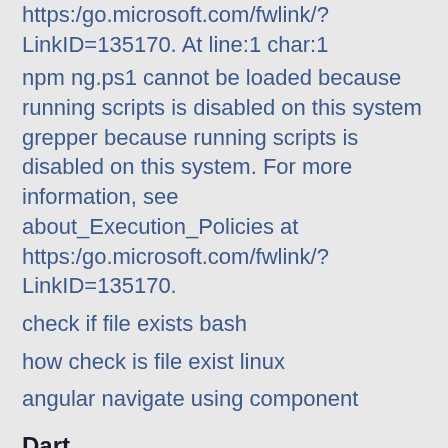https:/go.microsoft.com/fwlink/?LinkID=135170. At line:1 char:1
npm ng.ps1 cannot be loaded because running scripts is disabled on this system grepper because running scripts is disabled on this system. For more information, see about_Execution_Policies at https:/go.microsoft.com/fwlink/?LinkID=135170.
check if file exists bash
how check is file exist linux
angular navigate using component
Dart
Flutter turn string to int
image from assets in flutter
how to use hexadecimal color in flutter